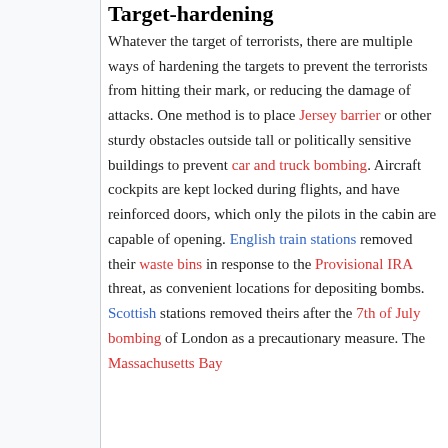Target-hardening
Whatever the target of terrorists, there are multiple ways of hardening the targets to prevent the terrorists from hitting their mark, or reducing the damage of attacks. One method is to place Jersey barrier or other sturdy obstacles outside tall or politically sensitive buildings to prevent car and truck bombing. Aircraft cockpits are kept locked during flights, and have reinforced doors, which only the pilots in the cabin are capable of opening. English train stations removed their waste bins in response to the Provisional IRA threat, as convenient locations for depositing bombs. Scottish stations removed theirs after the 7th of July bombing of London as a precautionary measure. The Massachusetts Bay